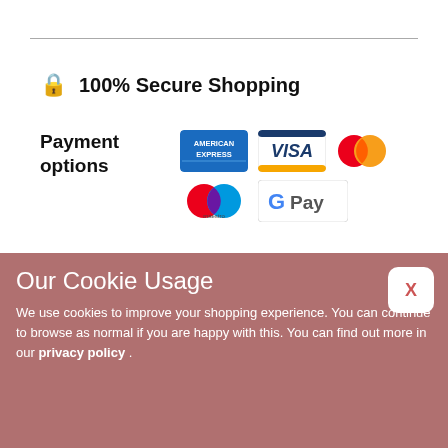🔒 100% Secure Shopping
Payment options
[Figure (logo): Payment option logos: American Express, Visa, Mastercard, Maestro, Google Pay]
Learn More About
Shop
Florist's Choice
Privacy Settings
Privacy
Our Cookie Usage
We use cookies to improve your shopping experience. You can continue to browse as normal if you are happy with this. You can find out more in our privacy policy .